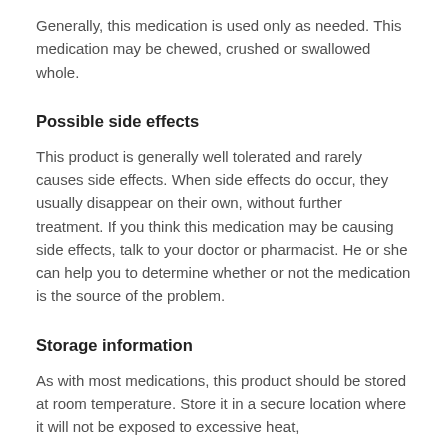Generally, this medication is used only as needed. This medication may be chewed, crushed or swallowed whole.
Possible side effects
This product is generally well tolerated and rarely causes side effects. When side effects do occur, they usually disappear on their own, without further treatment. If you think this medication may be causing side effects, talk to your doctor or pharmacist. He or she can help you to determine whether or not the medication is the source of the problem.
Storage information
As with most medications, this product should be stored at room temperature. Store it in a secure location where it will not be exposed to excessive heat,